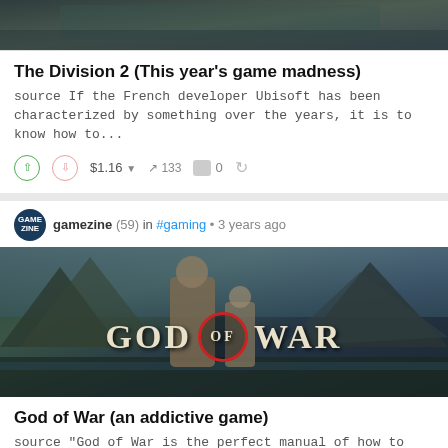[Figure (screenshot): Top portion of a game screenshot (The Division 2), cropped]
The Division 2 (This year's game madness)
source If the French developer Ubisoft has been characterized by something over the years, it is to know how to...
$1.16 ▾  ↑ 133  □ 0  ↺
gamezine (59) in #gaming • 3 years ago
[Figure (photo): God of War game cover art showing Kratos and Atreus with the God of War logo]
God of War (an addictive game)
source "God of War is the perfect manual of how to modernize a franchise doing everything right" After the end...
$1.09 ▾  ↑ 82  □ 7  ↺